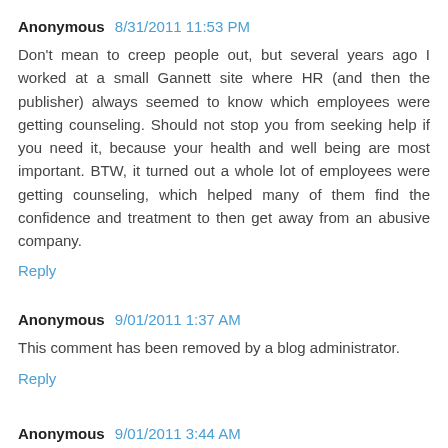Anonymous 8/31/2011 11:53 PM
Don't mean to creep people out, but several years ago I worked at a small Gannett site where HR (and then the publisher) always seemed to know which employees were getting counseling. Should not stop you from seeking help if you need it, because your health and well being are most important. BTW, it turned out a whole lot of employees were getting counseling, which helped many of them find the confidence and treatment to then get away from an abusive company.
Reply
Anonymous 9/01/2011 1:37 AM
This comment has been removed by a blog administrator.
Reply
Anonymous 9/01/2011 3:44 AM